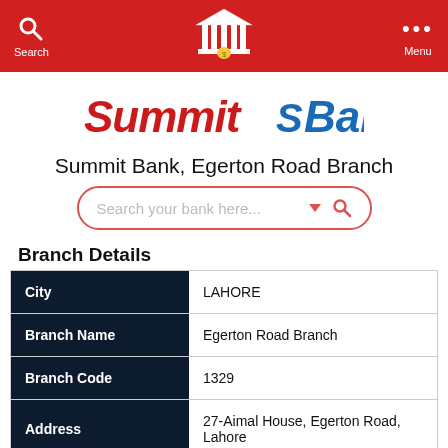Search | [Bank Logo] | Menu
[Figure (logo): Summit Bank logo with red 'Summit' italic text and blue 'Bank' text with S icon]
Summit Bank, Egerton Road Branch
[Figure (other): Search bar with placeholder text 'Search your bank here...' and dropdown/search icons]
Branch Details
| Field | Value |
| --- | --- |
| City | LAHORE |
| Branch Name | Egerton Road Branch |
| Branch Code | 1329 |
| Address | 27-Aimal House, Egerton Road, Lahore |